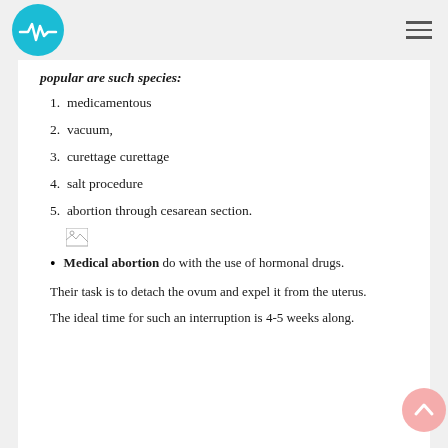[Logo] [Hamburger menu]
popular are such species:
1. medicamentous
2. vacuum,
3. curettage curettage
4. salt procedure
5. abortion through cesarean section.
[Figure (illustration): Small broken image icon]
Medical abortion do with the use of hormonal drugs.
Their task is to detach the ovum and expel it from the uterus.
The ideal time for such an interruption is 4-5 weeks along.